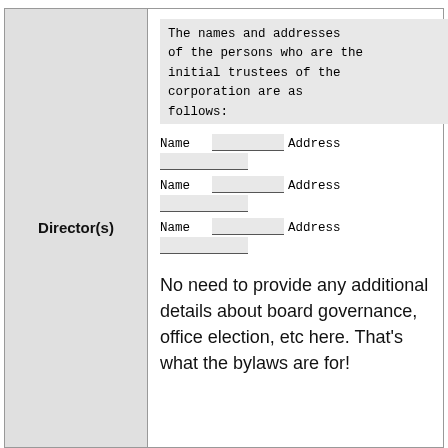| Director(s) | Content |
| --- | --- |
| Director(s) | The names and addresses of the persons who are the initial trustees of the corporation are as follows:
Name __________ Address __________
Name __________ Address __________
Name __________ Address __________

No need to provide any additional details about board governance, office election, etc here. That's what the bylaws are for! |